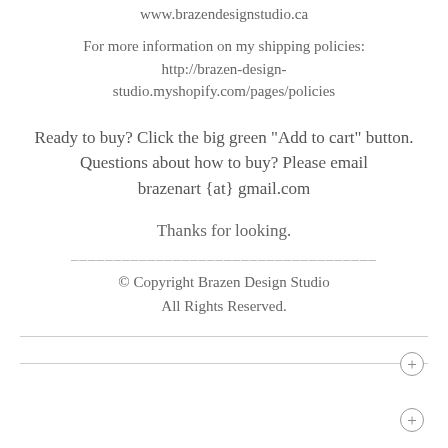www.brazendesignstudio.ca
For more information on my shipping policies:
http://brazen-design-studio.myshopify.com/pages/policies
Ready to buy? Click the big green "Add to cart" button.
Questions about how to buy? Please email brazenart {at} gmail.com
Thanks for looking.
____________________________________
© Copyright Brazen Design Studio
All Rights Reserved.